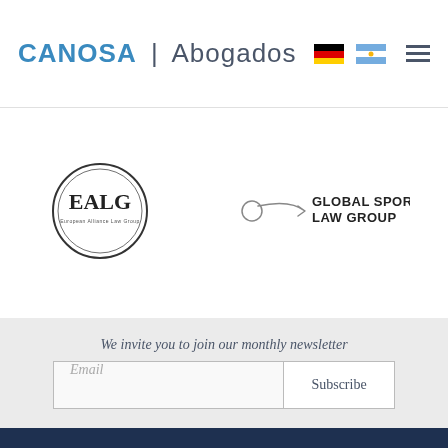CANOSA | Abogados
[Figure (logo): EALG circular logo - European Alliance Law Group]
[Figure (logo): Global Sports Law Group logo with arrow]
We invite you to join our monthly newsletter
Email  Subscribe
FIRM PROFILE  PROFESSIONALS  PRACTICE AREAS  CORRESPONDENTS  PUBLICATIONS  CONTACT  PRIVATE CLIENTS  BUSINESS LAW  BANKING & CAPITAL MARKETS  REAL ESTATE & CONSTRUCTION TRANSACTIONS